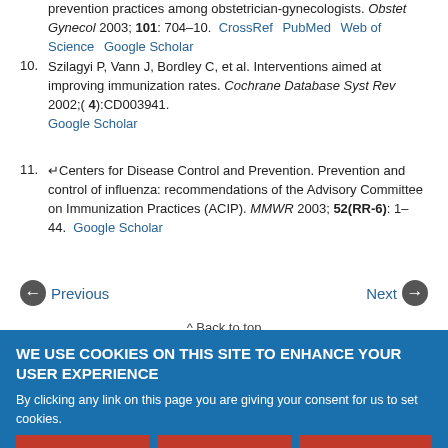prevention practices among obstetrician-gynecologists. Obstet Gynecol 2003; 101: 704–10. CrossRef PubMed Web of Science Google Scholar
10. Szilagyi P, Vann J, Bordley C, et al. Interventions aimed at improving immunization rates. Cochrane Database Syst Rev 2002;( 4):CD003941. Google Scholar
11. ↵Centers for Disease Control and Prevention. Prevention and control of influenza: recommendations of the Advisory Committee on Immunization Practices (ACIP). MMWR 2003; 52(RR-6): 1–44. Google Scholar
← Previous   Next →
∧ Back to top
In this issue
The Journal of the American Board of
WE USE COOKIES ON THIS SITE TO ENHANCE YOUR USER EXPERIENCE

By clicking any link on this page you are giving your consent for us to set cookies.